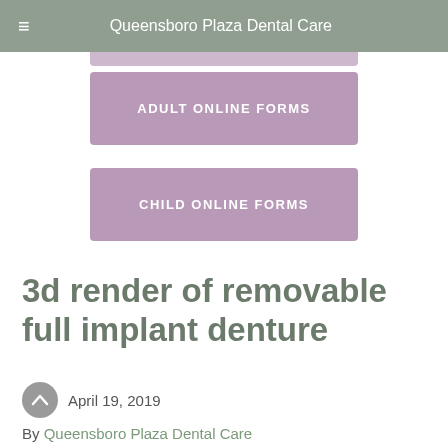Queensboro Plaza Dental Care
[Figure (other): Button: ADULT ONLINE FORMS — mauve/purple rounded rectangle button]
[Figure (other): Button: CHILD ONLINE FORMS — mauve/purple rounded rectangle button]
3d render of removable full implant denture
April 19, 2019
By Queensboro Plaza Dental Care